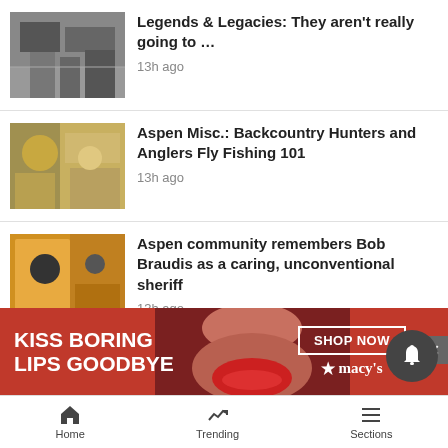Legends & Legacies: They aren't really going to ... — 13h ago
Aspen Misc.: Backcountry Hunters and Anglers Fly Fishing 101 — 13h ago
Aspen community remembers Bob Braudis as a caring, unconventional sheriff — 13h ago
Carbondale Arts' new director 'stood out…
[Figure (infographic): Macy's advertisement banner: KISS BORING LIPS GOODBYE with woman's face and SHOP NOW button]
Home   Trending   Sections